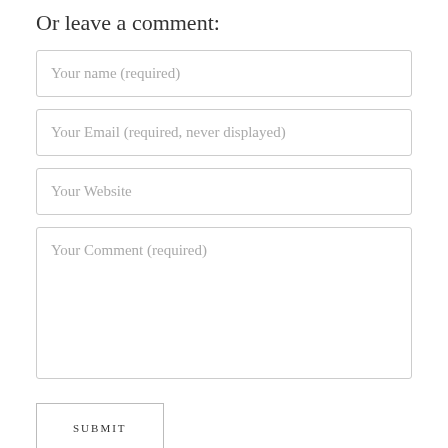Or leave a comment:
Your name (required)
Your Email (required, never displayed)
Your Website
Your Comment (required)
SUBMIT
Search